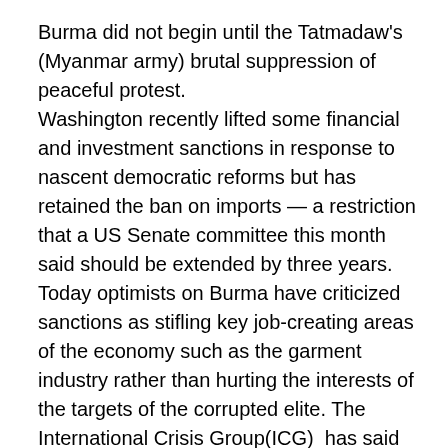Burma did not begin until the Tatmadaw's (Myanmar army) brutal suppression of peaceful protest. Washington recently lifted some financial and investment sanctions in response to nascent democratic reforms but has retained the ban on imports — a restriction that a US Senate committee this month said should be extended by three years. Today optimists on Burma have criticized sanctions as stifling key job-creating areas of the economy such as the garment industry rather than hurting the interests of the targets of the corrupted elite. The International Crisis Group(ICG)  has said the sanctions stifle  reform.
Human rights